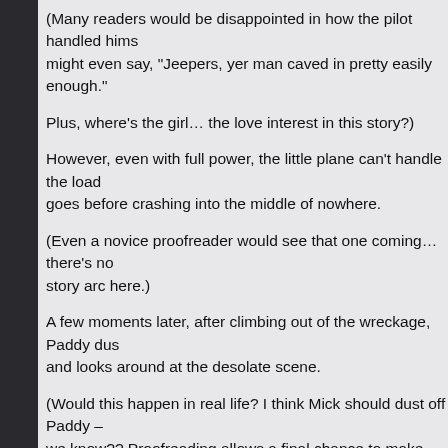(Many readers would be disappointed in how the pilot handled hims... might even say, "Jeepers, yer man caved in pretty easily enough."
Plus, where's the girl… the love interest in this story?)
However, even with full power, the little plane can't handle the load ... goes before crashing into the middle of nowhere.
(Even a novice proofreader would see that one coming… there's no... story arc here.)
A few moments later, after climbing out of the wreckage, Paddy dus... and looks around at the desolate scene.
(Would this happen in real life? I think Mick should dust off Paddy – we know?? Proofreading allows a final chance to make sure the rig... brushing off the correct Dustee.)
“Any idea where we are? asks Paddy.
“I think we’re pretty close to where we crashed last year,” says Mick...